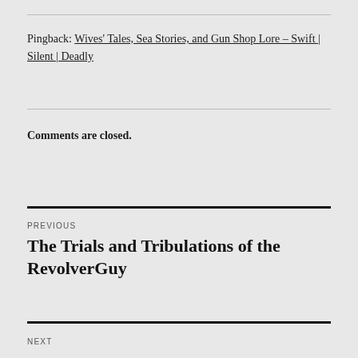Pingback: Wives' Tales, Sea Stories, and Gun Shop Lore – Swift | Silent | Deadly
Comments are closed.
PREVIOUS
The Trials and Tribulations of the RevolverGuy
NEXT